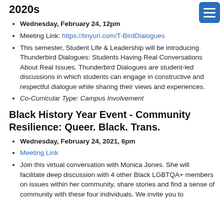2020s
Wednesday, February 24, 12pm
Meeting Link: https://tinyurl.com/T-BirdDialogues
This semester, Student Life & Leadership will be introducing Thunderbird Dialogues: Students Having Real Conversations About Real Issues. Thunderbird Dialogues are student-led discussions in which students can engage in constructive and respectful dialogue while sharing their views and experiences.
Co-Curricular Type: Campus Involvement
Black History Year Event - Community Resilience: Queer. Black. Trans.
Wednesday, February 24, 2021, 6pm
Meeting Link
Join this virtual conversation with Monica Jones. She will facilitate deep discussion with 4 other Black LGBTQA+ members on issues within her community, share stories and find a sense of community with these four individuals. We invite you to